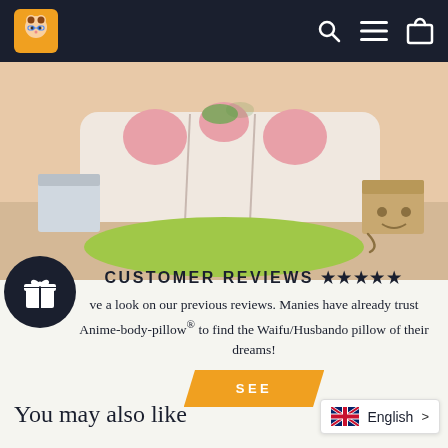Navigation bar with logo, search, menu, and cart icons
[Figure (illustration): Anime-style room illustration showing a pink spotted sofa/pillows against a peach-toned background, with boxes on either side and a green circular rug on the floor]
CUSTOMER REVIEWS ★★★★★
ve a look on our previous reviews. Manies have already trust Anime-body-pillow® to find the Waifu/Husbando pillow of their dreams!
SEE
You may also like
English >